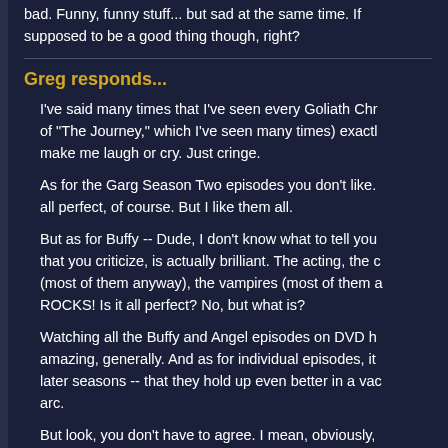bad. Funny, funny stuff... but sad at the same time. If supposed to be a good thing though, right?
Greg responds...
I've said many times that I've seen every Goliath Chr of "The Journey," which I've seen many times) exactl make me laugh or cry. Just cringe.
As for the Garg Season Two episodes you don't like. all perfect, of course. But I like them all.
But as for Buffy -- Dude, I don't know what to tell you that you criticize, is actually brilliant. The acting, the c (most of them anyway), the vampires (most of them a ROCKS! Is it all perfect? No, but what is?
Watching all the Buffy and Angel episodes on DVD h amazing, generally. And as for individual episodes, it later seasons -- that they hold up even better in a vac arc.
But look, you don't have to agree. I mean, obviously,